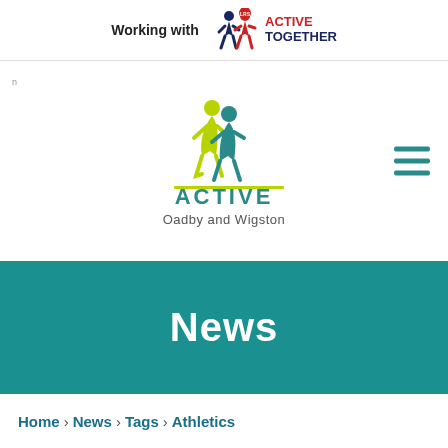[Figure (logo): Working with Active Together logo banner at top]
[Figure (logo): Active Oadby and Wigston logo with two running figures in yellow-green and teal, text ACTIVE Oadby and Wigston, and hamburger menu icon on right]
News
Home › News › Tags › Athletics